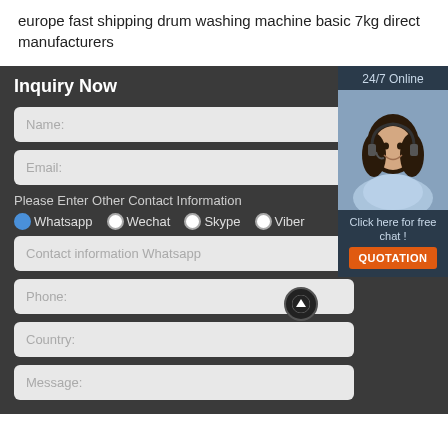europe fast shipping drum washing machine basic 7kg direct manufacturers
Inquiry Now
Name:
Email:
Please Enter Other Contact Information
Whatsapp  Wechat  Skype  Viber
Contact information Whatsapp
Phone:
Country:
Message:
24/7 Online
Click here for free chat !
QUOTATION